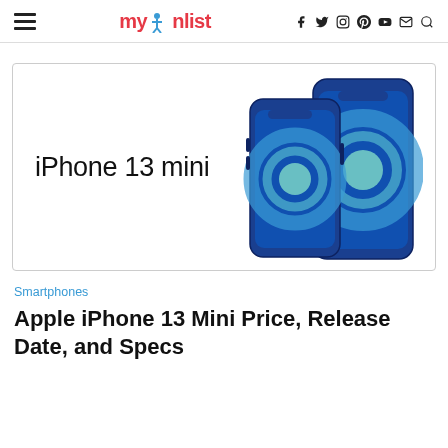mywishlist — navigation header with hamburger menu and social icons
[Figure (photo): iPhone 13 mini product image showing two blue iPhones side by side with text 'iPhone 13 mini' on the left]
Smartphones
Apple iPhone 13 Mini Price, Release Date, and Specs